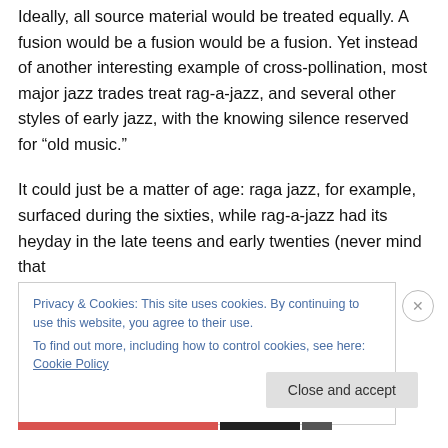Ideally, all source material would be treated equally. A fusion would be a fusion would be a fusion. Yet instead of another interesting example of cross-pollination, most major jazz trades treat rag-a-jazz, and several other styles of early jazz, with the knowing silence reserved for “old music.”
It could just be a matter of age: raga jazz, for example, surfaced during the sixties, while rag-a-jazz had its heyday in the late teens and early twenties (never mind that
Privacy & Cookies: This site uses cookies. By continuing to use this website, you agree to their use.
To find out more, including how to control cookies, see here: Cookie Policy
Close and accept